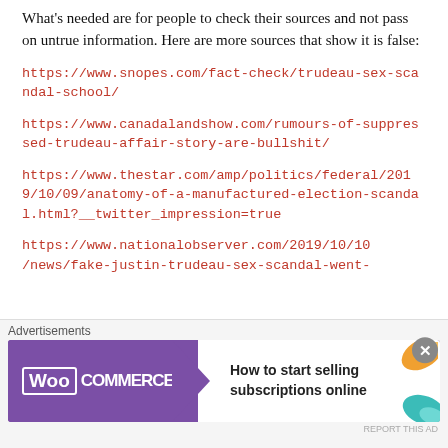What's needed are for people to check their sources and not pass on untrue information. Here are more sources that show it is false:
https://www.snopes.com/fact-check/trudeau-sex-scandal-school/
https://www.canadalandshow.com/rumours-of-suppressed-trudeau-affair-story-are-bullshit/
https://www.thestar.com/amp/politics/federal/2019/10/09/anatomy-of-a-manufactured-election-scandal.html?__twitter_impression=true
https://www.nationalobserver.com/2019/10/10/news/fake-justin-trudeau-sex-scandal-went-
[Figure (infographic): WooCommerce advertisement banner: purple background with WooCommerce logo, teal arrow, text 'How to start selling subscriptions online', orange and teal leaf decorations]